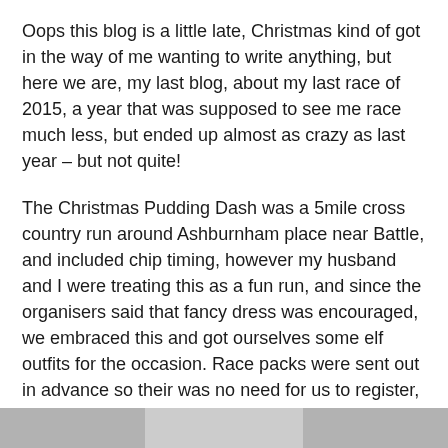Oops this blog is a little late, Christmas kind of got in the way of me wanting to write anything, but here we are, my last blog, about my last race of 2015, a year that was supposed to see me race much less, but ended up almost as crazy as last year – but not quite!
The Christmas Pudding Dash was a 5mile cross country run around Ashburnham place near Battle, and included chip timing, however my husband and I were treating this as a fun run, and since the organisers said that fancy dress was encouraged, we embraced this and got ourselves some elf outfits for the occasion. Race packs were sent out in advance so their was no need for us to register, and when we arrived we ran into some friends also dressed up, Lee Haines and Zander Clayton, and we banded together to take on the run.
[Figure (photo): Partial view of a photo strip at the bottom of the page, showing a grey/light image cropped at the edges.]